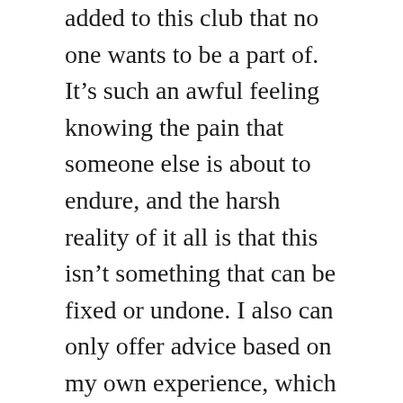added to this club that no one wants to be a part of. It’s such an awful feeling knowing the pain that someone else is about to endure, and the harsh reality of it all is that this isn’t something that can be fixed or undone. I also can only offer advice based on my own experience, which in retrospect isn’t much, because there are as many ways to grieve as there are people living in this world. But hopefully, if anything, by giving you my perspective I can help you to put yourself in their shoes, even just a little bit, and offer yourself from a place of grace instead of judgement.
So..
(partial, continues below)